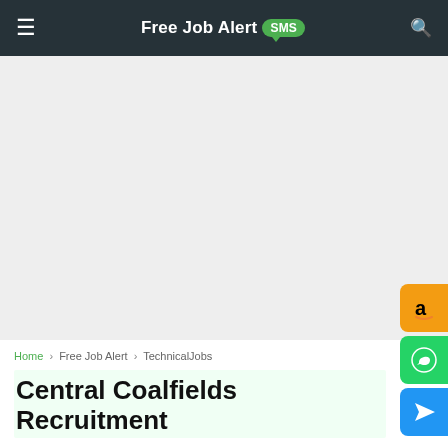Free Job Alert SMS
[Figure (screenshot): Grey advertisement/content placeholder area in the middle of the page]
[Figure (infographic): Amazon floating button (orange with 'a' letter)]
[Figure (infographic): WhatsApp floating button (green with phone icon)]
[Figure (infographic): Telegram floating button (blue with paper plane icon)]
[Figure (infographic): Scroll to top floating button (green with up arrow)]
Home > Free Job Alert > TechnicalJobs
Central Coalfields Recruitment